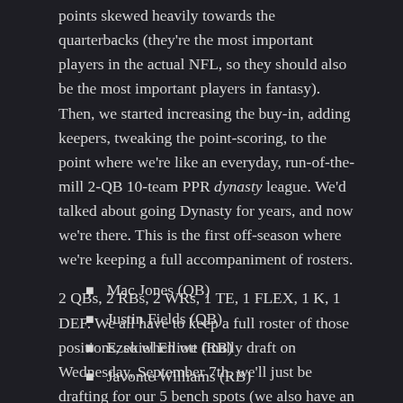points skewed heavily towards the quarterbacks (they're the most important players in the actual NFL, so they should also be the most important players in fantasy). Then, we started increasing the buy-in, adding keepers, tweaking the point-scoring, to the point where we're like an everyday, run-of-the-mill 2-QB 10-team PPR dynasty league. We'd talked about going Dynasty for years, and now we're there. This is the first off-season where we're keeping a full accompaniment of rosters.
2 QBs, 2 RBs, 2 WRs, 1 TE, 1 FLEX, 1 K, 1 DEF. We all have to keep a full roster of those positions, so when we finally draft on Wednesday, September 7th, we'll just be drafting for our 5 bench spots (we also have an IR spot, but that doesn't factor into our draft). Barring some last-minute injury issues, here's what my team is going to look like heading into the draft:
Mac Jones (QB)
Justin Fields (QB)
Ezekiel Elliott (RB)
Javonte Williams (RB)